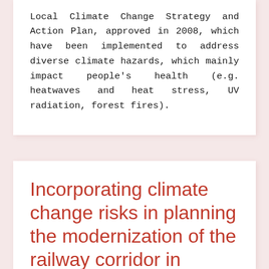Local Climate Change Strategy and Action Plan, approved in 2008, which have been implemented to address diverse climate hazards, which mainly impact people's health (e.g. heatwaves and heat stress, UV radiation, forest fires).
Incorporating climate change risks in planning the modernization of the railway corridor in Slovakia